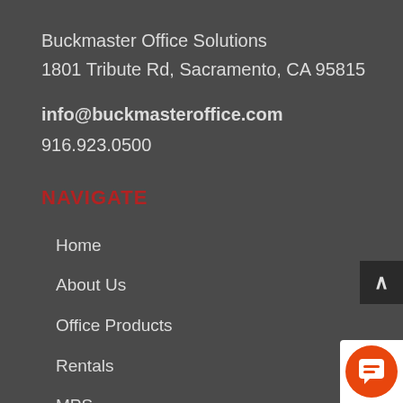Buckmaster Office Solutions
1801 Tribute Rd, Sacramento, CA 95815
info@buckmasteroffice.com
916.923.0500
NAVIGATE
Home
About Us
Office Products
Rentals
MPS
EDMS/Document Management
Service & Support